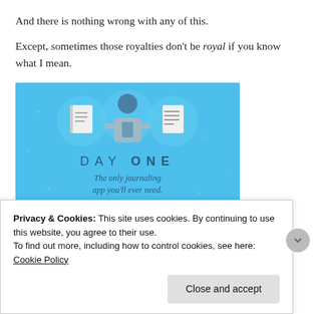And there is nothing wrong with any of this.
Except, sometimes those royalties don't be royal if you know what I mean.
[Figure (illustration): DAY ONE journaling app advertisement on blue background showing a person holding a phone with book icons, text reads 'DAY ONE The only journaling app you'll ever need.']
Privacy & Cookies: This site uses cookies. By continuing to use this website, you agree to their use.
To find out more, including how to control cookies, see here: Cookie Policy
Close and accept